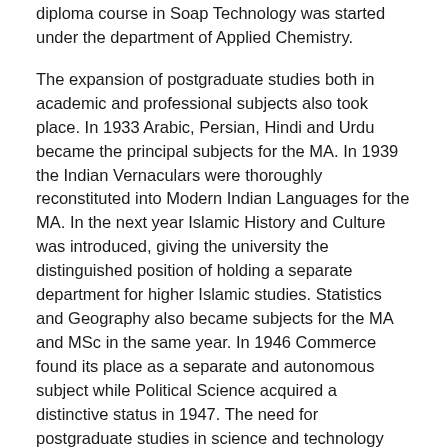diploma course in Soap Technology was started under the department of Applied Chemistry.
The expansion of postgraduate studies both in academic and professional subjects also took place. In 1933 Arabic, Persian, Hindi and Urdu became the principal subjects for the MA. In 1939 the Indian Vernaculars were thoroughly reconstituted into Modern Indian Languages for the MA. In the next year Islamic History and Culture was introduced, giving the university the distinguished position of holding a separate department for higher Islamic studies. Statistics and Geography also became subjects for the MA and MSc in the same year. In 1946 Commerce found its place as a separate and autonomous subject while Political Science acquired a distinctive status in 1947. The need for postgraduate studies in science and technology had already received attention in 1936 and was addressed with the introduction of new courses for the degree of Master of Engineering in 1953 and Master of Public Health in 1947. Meanwhile, the Agricultural Institute at Barrackpore, which had opened in 1939, was revived in 1948 when the Khaira Professorship of Agriculture was instituted. Similarly, the foundation of the Institute of Jute Technology in 1946 added a new dimension to the university's curricula.
In 1934, an Art gallery and Museum was opened to facilitate